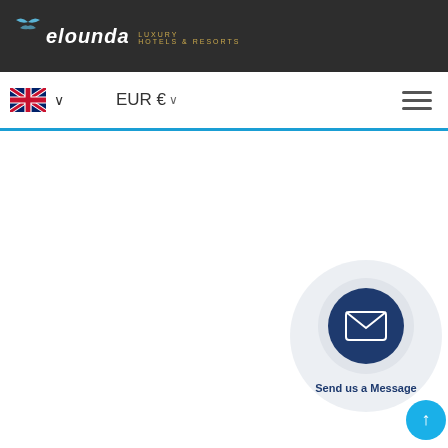[Figure (logo): Elounda Luxury Hotels & Resorts logo with wave icon on dark background header bar]
EUR € ∨
[Figure (illustration): Contact widget showing envelope/mail icon in dark navy circle with label 'Send us a Message', plus a teal scroll-to-top button]